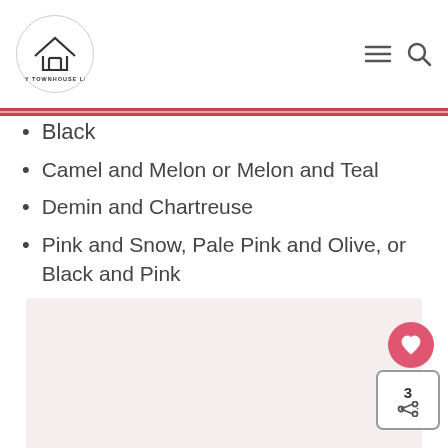SASSY TOWNHOUSE LIVING
Black
Camel and Melon or Melon and Teal
Demin and Chartreuse
Pink and Snow, Pale Pink and Olive, or Black and Pink
[Figure (photo): Image placeholder area at bottom of page with light pink/grey background]